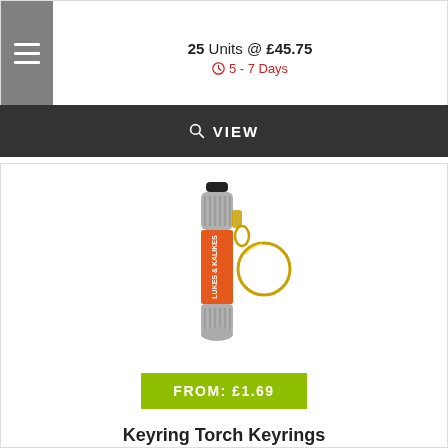25 Units @ £45.75
5 - 7 Days
VIEW
[Figure (photo): Orange and silver keyring torch with keyring attached, branded with 'Lukes & Kalikes' logo on the orange barrel.]
FROM: £1.69
Keyring Torch Keyrings
25 Units @ £84